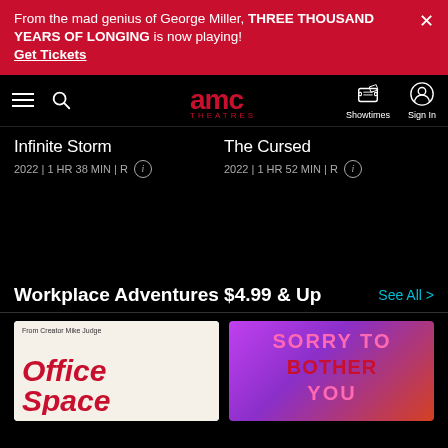From the mad genius of George Miller, THREE THOUSAND YEARS OF LONGING is now playing! Get Tickets
[Figure (screenshot): AMC Theatres navigation bar with hamburger menu, search icon, AMC Theatres logo, Showtimes icon, and Sign In icon]
Infinite Storm
2022 | 1 HR 38 MIN | R
The Cursed
2022 | 1 HR 52 MIN | R
Workplace Adventures $4.99 & Up
See All >
[Figure (photo): Office Space movie poster - From Creator Mike Judge, with red script logo on light background]
[Figure (photo): Sorry to Bother You movie poster - pink and red text on purple/magenta gradient background]